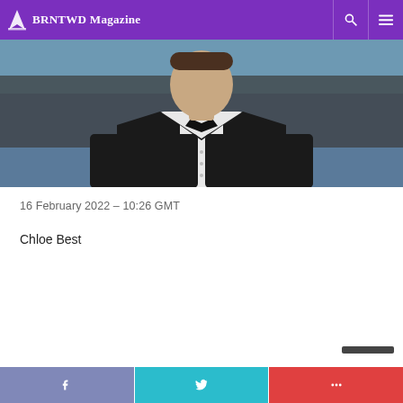BRNTWD Magazine
[Figure (photo): Man in dark tuxedo with black bow tie, photographed from chest up against blurred background]
16 February 2022 – 10:26 GMT
Chloe Best